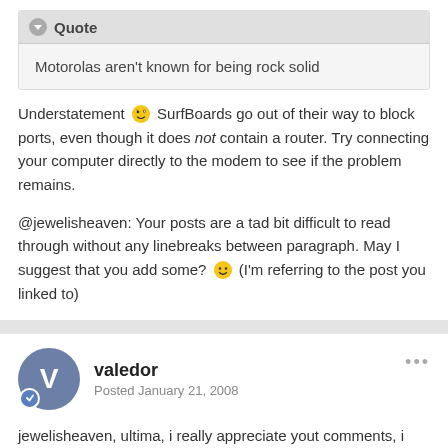Quote
Motorolas aren't known for being rock solid
Understatement 😜 SurfBoards go out of their way to block ports, even though it does not contain a router. Try connecting your computer directly to the modem to see if the problem remains.
@jewelisheaven: Your posts are a tad bit difficult to read through without any linebreaks between paragraph. May I suggest that you add some? 🙂 (I'm referring to the post you linked to)
valedor
Posted January 21, 2008
jewelisheaven, ultima, i really appreciate yout comments, i hope i can helo u one day.
i'm in a hurry. i must leave for 2 days. so i'll be out until wednesday